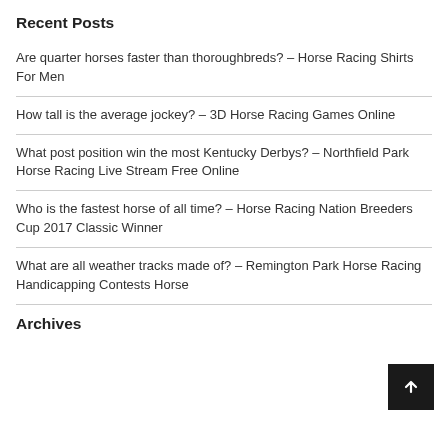Recent Posts
Are quarter horses faster than thoroughbreds? – Horse Racing Shirts For Men
How tall is the average jockey? – 3D Horse Racing Games Online
What post position win the most Kentucky Derbys? – Northfield Park Horse Racing Live Stream Free Online
Who is the fastest horse of all time? – Horse Racing Nation Breeders Cup 2017 Classic Winner
What are all weather tracks made of? – Remington Park Horse Racing Handicapping Contests Horse
Archives